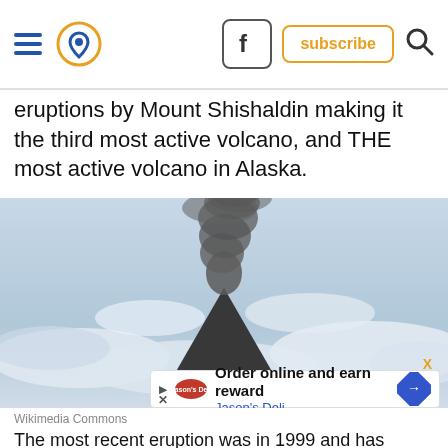[ navigation bar with hamburger menu, location icon, Facebook button, subscribe button, search icon ]
eruptions by Mount Shishaldin making it the third most active volcano, and THE most active volcano in Alaska.
[Figure (photo): Aerial photograph of Mount Shishaldin volcano erupting with a tall column of dark ash and smoke rising above the clouds, with the conical peak of the volcano visible below.]
Wikimedia Commons
The most recent eruption was in 1999 and has continued